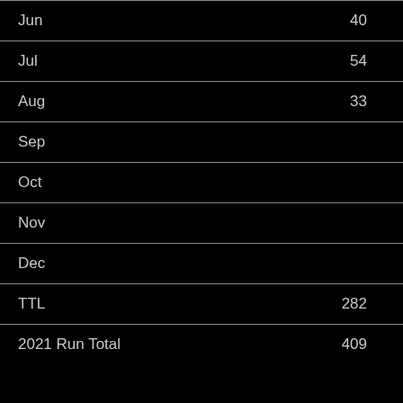| Month | Value |
| --- | --- |
| Jun | 40 |
| Jul | 54 |
| Aug | 33 |
| Sep |  |
| Oct |  |
| Nov |  |
| Dec |  |
| TTL | 282 |
| 2021 Run Total | 409 |